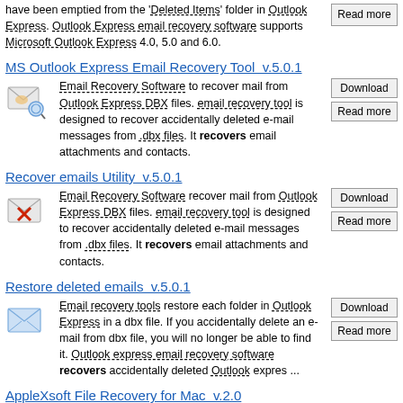have been emptied from the 'Deleted Items' folder in Outlook Express. Outlook Express email recovery software supports Microsoft Outlook Express 4.0, 5.0 and 6.0.
MS Outlook Express Email Recovery Tool  v.5.0.1
Email Recovery Software to recover mail from Outlook Express DBX files. email recovery tool is designed to recover accidentally deleted e-mail messages from .dbx files. It recovers email attachments and contacts.
Recover emails Utility  v.5.0.1
Email Recovery Software recover mail from Outlook Express DBX files. email recovery tool is designed to recover accidentally deleted e-mail messages from .dbx files. It recovers email attachments and contacts.
Restore deleted emails  v.5.0.1
Email recovery tools restore each folder in Outlook Express in a dbx file. If you accidentally delete an e-mail from dbx file, you will no longer be able to find it. Outlook express email recovery software recovers accidentally deleted Outlook expres ...
AppleXsoft File Recovery for Mac  v.2.0
Mac File Recovery Software is the safest...